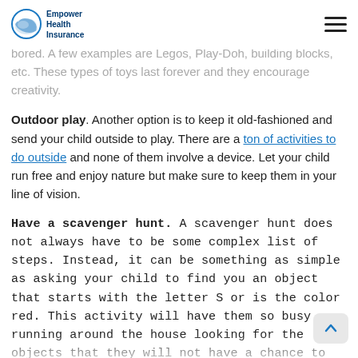Empower Health Insurance
ckly after being bought. That is why it is important to get your child toys that they can use over and over again without getting bored. A few examples are Legos, Play-Doh, building blocks, etc. These types of toys last forever and they encourage creativity.
Outdoor play. Another option is to keep it old-fashioned and send your child outside to play. There are a ton of activities to do outside and none of them involve a device. Let your child run free and enjoy nature but make sure to keep them in your line of vision.
Have a scavenger hunt. A scavenger hunt does not always have to be some complex list of steps. Instead, it can be something as simple as asking your child to find you an object that starts with the letter S or is the color red. This activity will have them so busy running around the house looking for the objects that they will not have a chance to get bored.
Host playdates. This final option is great when you have trusted friends and neighbors. You can send your child over to a friend's house or have them come over. It gives your child the chance to